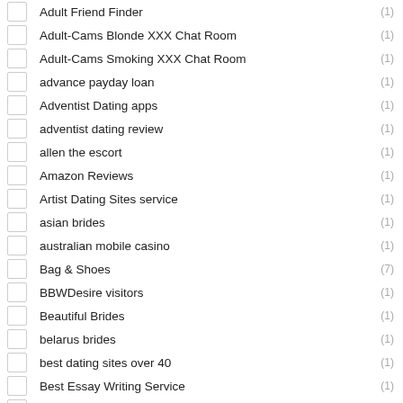Adult Friend Finder (1)
Adult-Cams Blonde XXX Chat Room (1)
Adult-Cams Smoking XXX Chat Room (1)
advance payday loan (1)
Adventist Dating apps (1)
adventist dating review (1)
allen the escort (1)
Amazon Reviews (1)
Artist Dating Sites service (1)
asian brides (1)
australian mobile casino (1)
Bag & Shoes (7)
BBWDesire visitors (1)
Beautiful Brides (1)
belarus brides (1)
best dating sites over 40 (1)
Best Essay Writing Service (1)
best online casino bonuses (1)